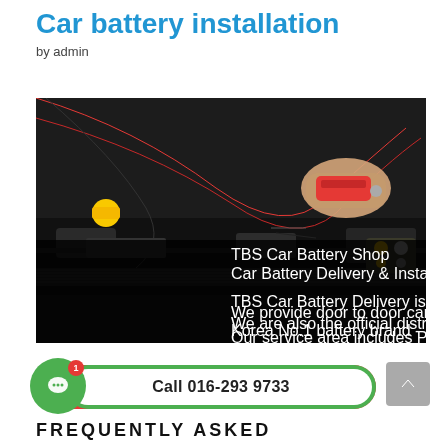Car battery installation
by admin
[Figure (photo): Car battery installation photo showing jumper cables being connected, with TBS Car Battery Shop overlay text: 'Car Battery Delivery & Installation in 35 minutes!' and descriptive text about TBS Car Battery Delivery services in Petaling Jaya, Kuala Lumpur, Selangor, and Klang Valley.]
Call 016-293 9733
FREQUENTLY ASKED